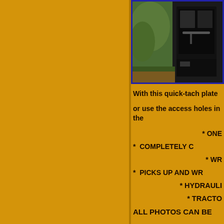[Figure (photo): Photo of tractor quick-tach plate attachment, showing cab/loader area with dark equipment parts, framed with blue border]
With this quick-tach plate
or use the access holes in the
* ONE
*  COMPLETELY C
* WR
*  PICKS UP AND WR
* HYDRAULI
* TRACTO
ALL PHOTOS CAN BE